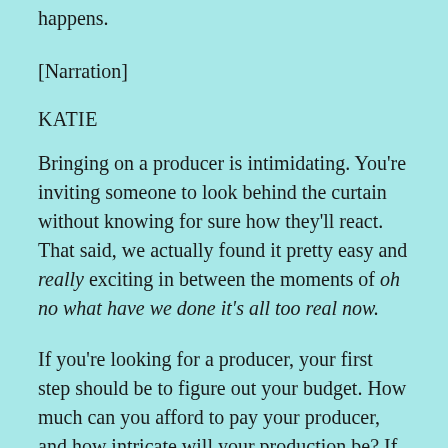happens.
[Narration]
KATIE
Bringing on a producer is intimidating. You're inviting someone to look behind the curtain without knowing for sure how they'll react. That said, we actually found it pretty easy and really exciting in between the moments of oh no what have we done it's all too real now.
If you're looking for a producer, your first step should be to figure out your budget. How much can you afford to pay your producer, and how intricate will your production be? If you make ongoing money from supporters, how much of that will go to your producer? Also, you should account for the cost